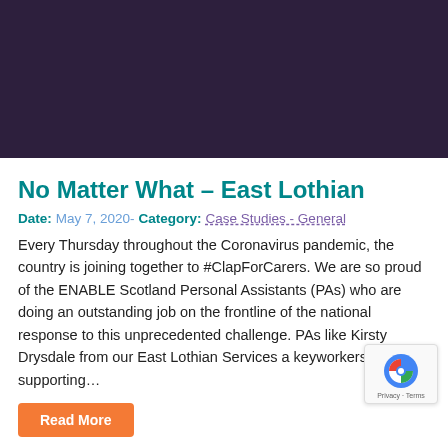[Figure (photo): Dark purple/indigo hero image banner at the top of the page]
No Matter What – East Lothian
Date: May 7, 2020- Category: Case Studies - General
Every Thursday throughout the Coronavirus pandemic, the country is joining together to #ClapForCarers. We are so proud of the ENABLE Scotland Personal Assistants (PAs) who are doing an outstanding job on the frontline of the national response to this unprecedented challenge. PAs like Kirsty Drysdale from our East Lothian Services are keyworkers supporting…